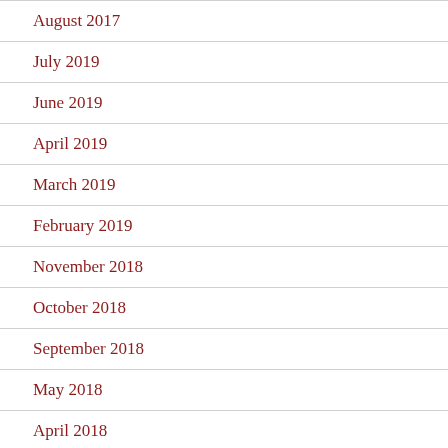August 2017
July 2019
June 2019
April 2019
March 2019
February 2019
November 2018
October 2018
September 2018
May 2018
April 2018